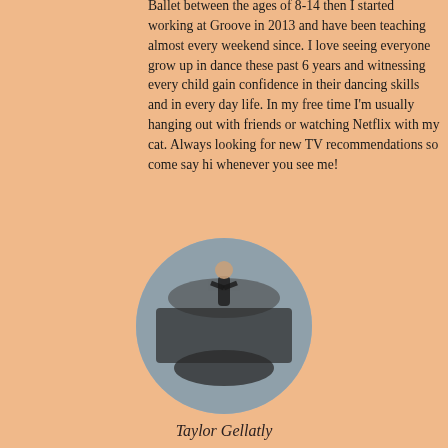Ballet between the ages of 8-14 then I started working at Groove in 2013 and have been teaching almost every weekend since. I love seeing everyone grow up in dance these past 6 years and witnessing every child gain confidence in their dancing skills and in every day life. In my free time I'm usually hanging out with friends or watching Netflix with my cat. Always looking for new TV recommendations so come say hi whenever you see me!
[Figure (photo): Circular cropped group photo of dance instructor with a large group of students wearing black outfits in a dance studio or gymnasium.]
Taylor Gellatly
Head Instructor
Taylor is a head instructor at Groove School